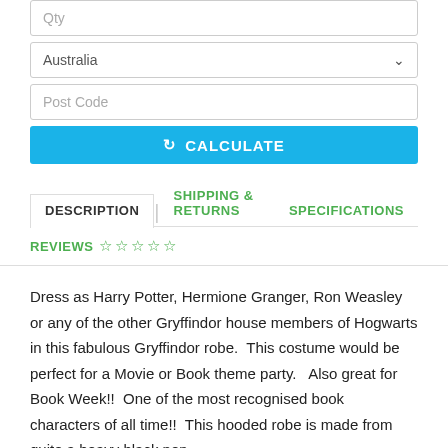[Figure (screenshot): Form with Qty input, Australia country dropdown, Post Code input, and a blue Calculate button]
DESCRIPTION | SHIPPING & RETURNS | SPECIFICATIONS
REVIEWS ☆ ☆ ☆ ☆ ☆
Dress as Harry Potter, Hermione Granger, Ron Weasley or any of the other Gryffindor house members of Hogwarts in this fabulous Gryffindor robe.  This costume would be perfect for a Movie or Book theme party.   Also great for Book Week!!  One of the most recognised book characters of all time!!  This hooded robe is made from quite a heavy black non-